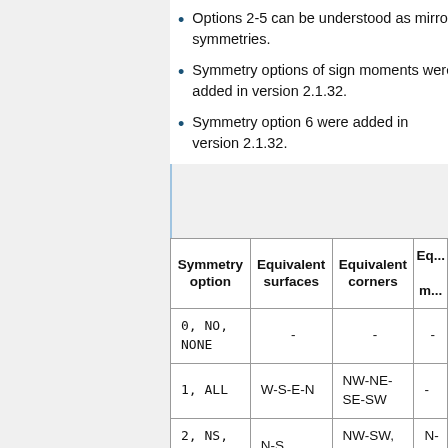Options 2-5 can be understood as mirror symmetries.
Symmetry options of sign moments were added in version 2.1.32.
Symmetry option 6 were added in version 2.1.32.
| Symmetry option | Equivalent surfaces | Equivalent corners | Eq... m... |
| --- | --- | --- | --- |
| 0, NO, NONE | - | - | - |
| 1, ALL | W-S-E-N | NW-NE-SE-SW | - |
| 2, NS, SN | N-S | NW-SW, NE-SE | N-S... |